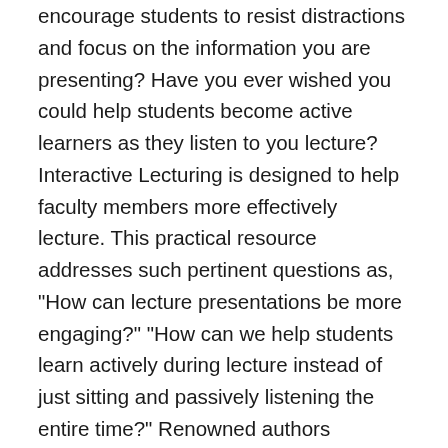encourage students to resist distractions and focus on the information you are presenting? Have you ever wished you could help students become active learners as they listen to you lecture? Interactive Lecturing is designed to help faculty members more effectively lecture. This practical resource addresses such pertinent questions as, "How can lecture presentations be more engaging?" "How can we help students learn actively during lecture instead of just sitting and passively listening the entire time?" Renowned authors Elizabeth F. Barkley and Claire H. Major provide practical tips on creating and delivering engaging lectures as well as concrete techniques to help teachers ensure students are active and fully engaged participants in the learning process before, during, and after lecture presentations. Research shows that most college faculty still rely predominantly on traditional lectures as their preferred teaching technique. However, research also underscores the fact that more students fail lecture-based